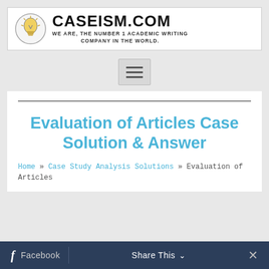[Figure (logo): Caseism.com logo with lightbulb icon and tagline: WE ARE, THE NUMBER 1 ACADEMIC WRITING COMPANY IN THE WORLD.]
[Figure (other): Hamburger menu button (three horizontal lines) on grey background]
Evaluation of Articles Case Solution & Answer
Home » Case Study Analysis Solutions » Evaluation of Articles
f  Facebook  |  Share This  ∨  ×